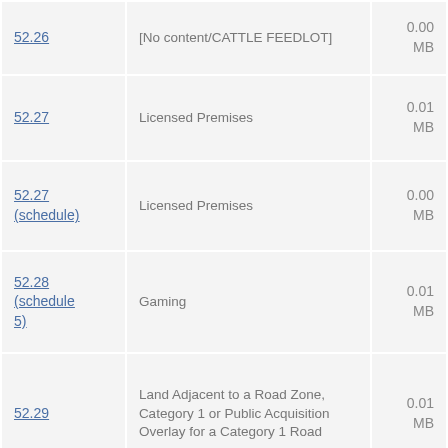| Section | Description | Size |
| --- | --- | --- |
| 52.26 | [No content/CATTLE FEEDLOT] | 0.00 MB |
| 52.27 | Licensed Premises | 0.01 MB |
| 52.27 (schedule) | Licensed Premises | 0.00 MB |
| 52.28 (schedule 5) | Gaming | 0.01 MB |
| 52.29 | Land Adjacent to a Road Zone, Category 1 or Public Acquisition Overlay for a Category 1 Road | 0.01 MB |
| 52.28 | Gaming | 0.13 MB |